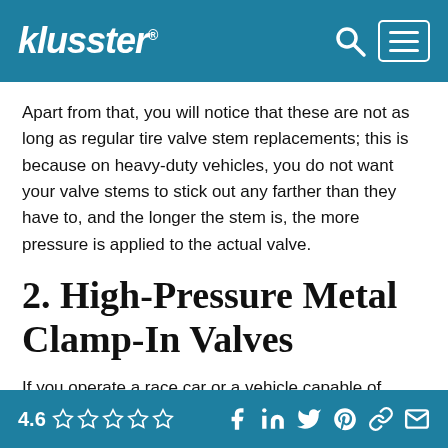klusster®
Apart from that, you will notice that these are not as long as regular tire valve stem replacements; this is because on heavy-duty vehicles, you do not want your valve stems to stick out any farther than they have to, and the longer the stem is, the more pressure is applied to the actual valve.
2. High-Pressure Metal Clamp-In Valves
If you operate a race car or a vehicle capable of exceeding 130 mph, a high-pressure metal clamp-in valve will certainly be of interest to you. When
4.6 ☆☆☆☆☆ — social icons